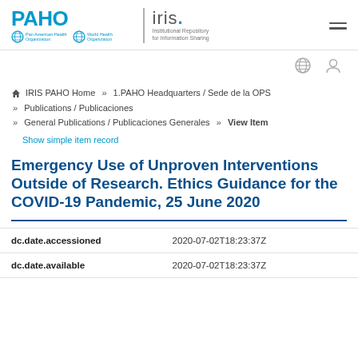[Figure (logo): PAHO IRIS institutional header logo with PAHO text, WHO globe icons, vertical divider, and iris. title in grey with blue dot]
IRIS PAHO Home » 1.PAHO Headquarters / Sede de la OPS » Publications / Publicaciones » General Publications / Publicaciones Generales » View Item
Show simple item record
Emergency Use of Unproven Interventions Outside of Research. Ethics Guidance for the COVID-19 Pandemic, 25 June 2020
| Field | Value |
| --- | --- |
| dc.date.accessioned | 2020-07-02T18:23:37Z |
| dc.date.available | 2020-07-02T18:23:37Z |